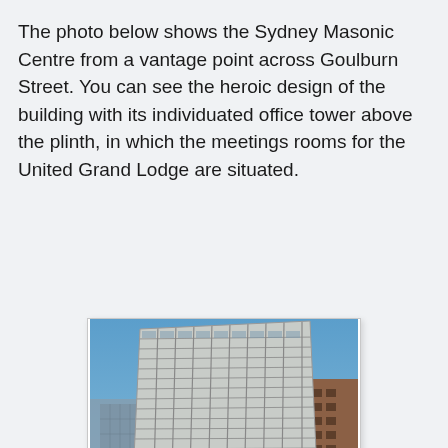The photo below shows the Sydney Masonic Centre from a vantage point across Goulburn Street. You can see the heroic design of the building with its individuated office tower above the plinth, in which the meetings rooms for the United Grand Lodge are situated.
[Figure (photo): Photograph of the Sydney Masonic Centre viewed from across Goulburn Street, showing the tall modernist office tower above a wide concrete plinth with Masonic symbols, with other buildings visible in the background and a blue sky.]